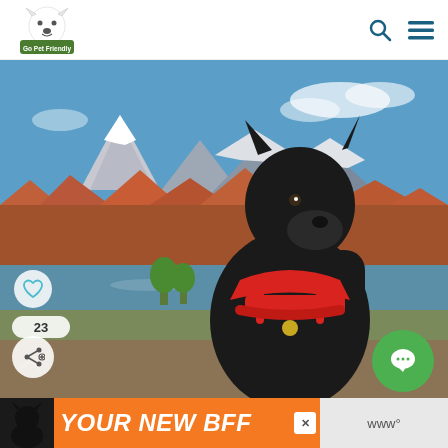[Figure (logo): GoPetFriendly logo — cartoon dog head with green banner reading 'Go Pet Friendly']
[Figure (photo): Black Great Dane wearing a red harness sitting outdoors with a lake, red rock canyon formations, and snow-capped mountains in the background under a blue sky]
[Figure (infographic): Social interaction overlay: heart/like button (teal circle), count badge showing '23', share button (bone icon with plus), and green chat bubble button on right side]
[Figure (infographic): Orange advertisement banner at bottom: silhouette of black dog on left, bold italic text 'YOUR NEW BFF', close X button, and 'www°' text on right]